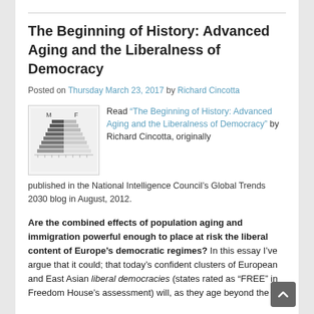The Beginning of History: Advanced Aging and the Liberalness of Democracy
Posted on Thursday March 23, 2017 by Richard Cincotta
[Figure (illustration): Population pyramid diagram with M (male) on left and F (female) on right, showing an aging demographic structure, black and white image]
Read “The Beginning of History: Advanced Aging and the Liberalness of Democracy” by Richard Cincotta, originally published in the National Intelligence Council’s Global Trends 2030 blog in August, 2012.
Are the combined effects of population aging and immigration powerful enough to place at risk the liberal content of Europe’s democratic regimes? In this essay I’ve argue that it could; that today’s confident clusters of European and East Asian liberal democracies (states rated as “FREE” in Freedom House’s assessment) will, as they age beyond the